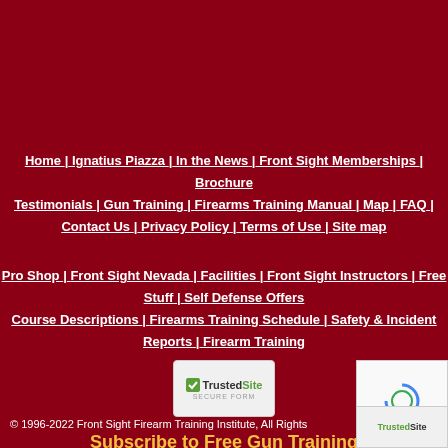Home | Ignatius Piazza | In the News | Front Sight Memberships | Brochure | Testimonials | Gun Training | Firearms Training Manual | Map | FAQ | Contact Us | Privacy Policy | Terms of Use | Site map
Pro Shop | Front Sight Nevada | Facilities | Front Sight Instructors | Free Stuff | Self Defense Offers
Course Descriptions | Firearms Training Schedule | Safety & Incident Reports | Firearm Training
[Figure (logo): TrustedSite Secure Form badge — white rectangle with green checkmark and TrustedSite logo, text SECURE FORM below]
[Figure (logo): reCAPTCHA widget — white box with spinning circle icon and Privacy - Terms text]
© 1996-2022 Front Sight Firearm Training Institute, All Rights
Subscribe to Free Gun Training
[Figure (logo): TrustedSite badge bottom right corner]